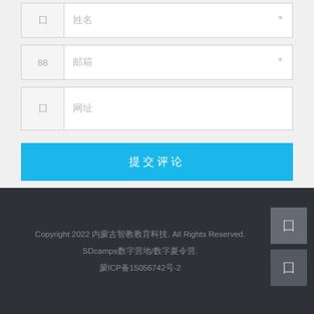[Figure (screenshot): Form fields with icon labels and asterisks indicating required fields, with a blue submit button]
此站点使用Akismet来减少垃圾评论。了解您的评论数据如何被处理。
Copyright 2022 内蒙古智教教育科技. All Rights Reserved. SDcamps数字营地/数字夏令营. 蒙ICP备15056742号-2